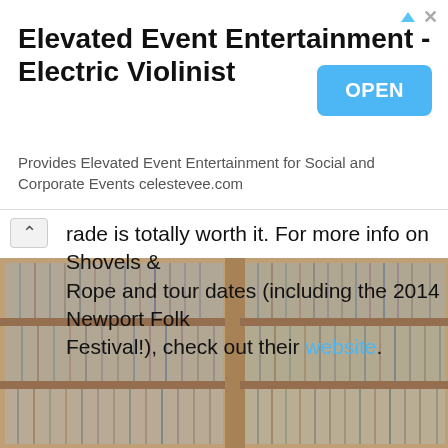[Figure (screenshot): Advertisement banner for Elevated Event Entertainment - Electric Violinist. Shows title text, OPEN button in blue, and subtitle text. Has ad icons (triangle and X) in top right.]
rade is totally worth it. For more info on Shovels & Rope and tour dates (including the 2014 Newport Folk Festival!), check out their website.
[Figure (photo): Background photo of shelves filled with CDs or records, blurred, arranged in rows with wooden shelving units visible.]